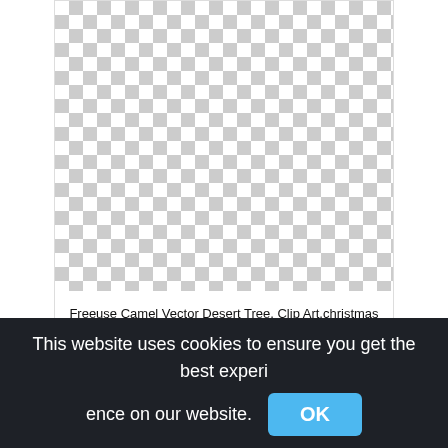[Figure (other): Transparent checkerboard background representing an image placeholder for a Freeuse Camel Vector Desert Tree clip art PNG]
Freeuse Camel Vector Desert Tree, Clip Art,christmas tree clip art png
This website uses cookies to ensure you get the best experience on our website. OK